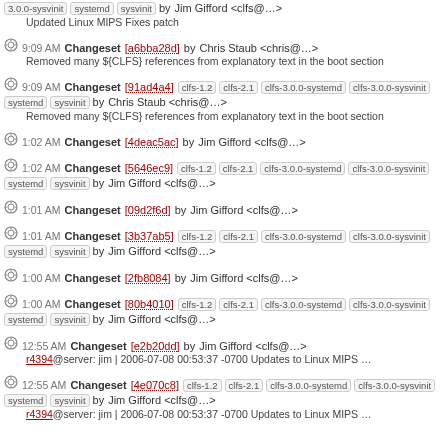3.0.0-sysvinit systemd sysvinit by Jim Gifford <clfs@…> Updated Linux MIPS Fixes patch
9:09 AM Changeset [a6bba28d] by Chris Staub <chris@…> Removed many ${CLFS} references from explanatory text in the boot section
9:09 AM Changeset [91ad4a4] clfs-1.2 clfs-2.1 clfs-3.0.0-systemd clfs-3.0.0-sysvinit systemd sysvinit by Chris Staub <chris@…> Removed many ${CLFS} references from explanatory text in the boot section
1:02 AM Changeset [4deac5ac] by Jim Gifford <clfs@…>
1:02 AM Changeset [5646ec9] clfs-1.2 clfs-2.1 clfs-3.0.0-systemd clfs-3.0.0-sysvinit systemd sysvinit by Jim Gifford <clfs@…>
1:01 AM Changeset [09d2f6d] by Jim Gifford <clfs@…>
1:01 AM Changeset [3b37ab5] clfs-1.2 clfs-2.1 clfs-3.0.0-systemd clfs-3.0.0-sysvinit systemd sysvinit by Jim Gifford <clfs@…>
1:00 AM Changeset [2fb8084] by Jim Gifford <clfs@…>
1:00 AM Changeset [80b4010] clfs-1.2 clfs-2.1 clfs-3.0.0-systemd clfs-3.0.0-sysvinit systemd sysvinit by Jim Gifford <clfs@…>
12:55 AM Changeset [e2b20dd] by Jim Gifford <clfs@…> r4394@server: jim | 2006-07-08 00:53:37 -0700 Updates to Linux MIPS …
12:55 AM Changeset [4e070c8] clfs-1.2 clfs-2.1 clfs-3.0.0-systemd clfs-3.0.0-sysvinit systemd sysvinit by Jim Gifford <clfs@…> r4394@server: jim | 2006-07-08 00:53:37 -0700 Updates to Linux MIPS …